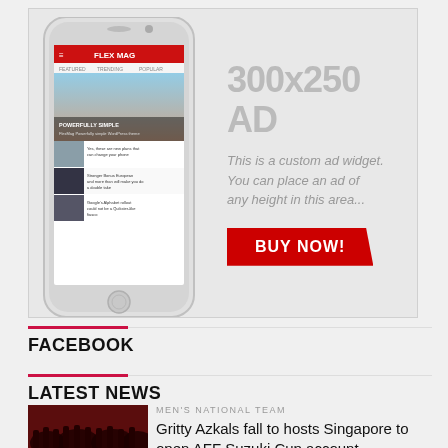[Figure (screenshot): Advertisement banner showing a smartphone with FLEX MAG app displayed, alongside text '300x250 AD', 'This is a custom ad widget. You can place an ad of any height in this area.' and a red BUY NOW! button]
FACEBOOK
LATEST NEWS
MEN'S NATIONAL TEAM
Gritty Azkals fall to hosts Singapore to open AFF Suzuki Cup account.